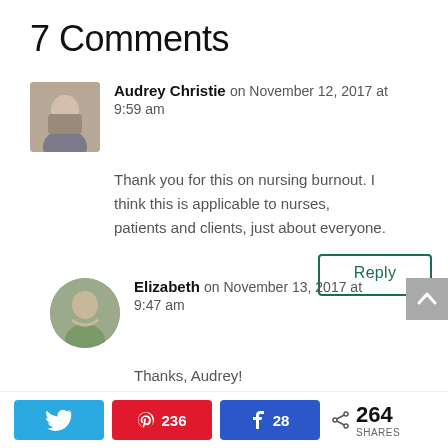7 Comments
Audrey Christie on November 12, 2017 at 9:59 am
Thank you for this on nursing burnout. I think this is applicable to nurses, patients and clients, just about everyone.
Reply
Elizabeth on November 13, 2017 at 9:47 am
Thanks, Audrey!
Twitter | Pinterest 236 | Facebook 28 | Share 264 SHARES